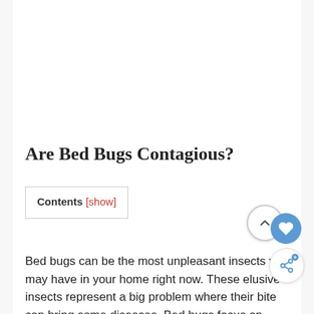Are Bed Bugs Contagious?
Contents [show]
Bed bugs can be the most unpleasant insects you may have in your home right now. These elusive insects represent a big problem where their bite can bring some diseases. Bed bugs focus on piercing your skin to acquire your blood; they usually leave some marks that you may not like.